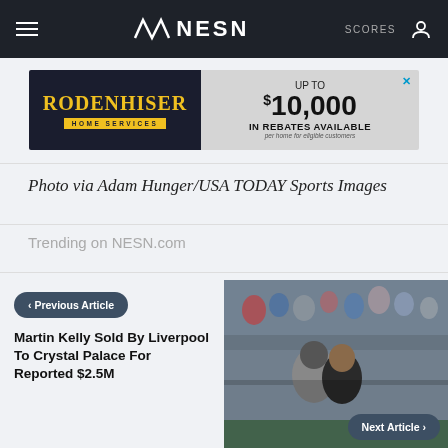NESN | SCORES
[Figure (other): Rodenhiser Home Services advertisement: UP TO $10,000 IN REBATES AVAILABLE per home for eligible customers]
Photo via Adam Hunger/USA TODAY Sports Images
Trending on NESN.com
< Previous Article
Martin Kelly Sold By Liverpool To Crystal Palace For Reported $2.5M
[Figure (photo): Two people hugging at a baseball stadium, crowd in background]
Next Article >